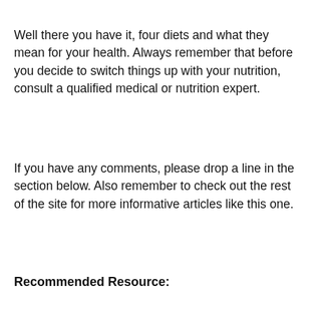Well there you have it, four diets and what they mean for your health. Always remember that before you decide to switch things up with your nutrition, consult a qualified medical or nutrition expert.
If you have any comments, please drop a line in the section below. Also remember to check out the rest of the site for more informative articles like this one.
Recommended Resource:
Get 40% Off Our Keto Stack